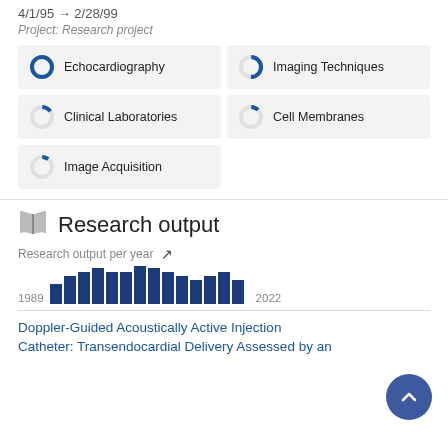4/1/95 → 2/28/99
Project: Research project
[Figure (infographic): Five keyword tags with donut-style percentage indicators: Echocardiography (100%), Imaging Techniques (~50%), Clinical Laboratories (~15%), Cell Membranes (~12%), Image Acquisition (~10%)]
Research output
Research output per year
[Figure (bar-chart): Research output per year]
Doppler-Guided Acoustically Active Injection Catheter: Transendocardial Delivery Assessed by an